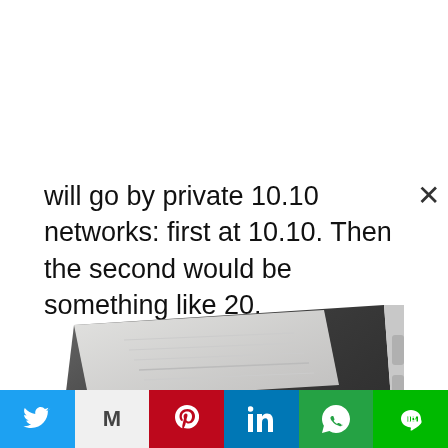will go by private 10.10 networks: first at 10.10. Then the second would be something like 20.
[Figure (photo): Close-up photo of a dark tablet/phone device corner showing status bar with time 11:23, date 15.07.2017, and signal/battery icons. Background shows blurred white stand or router and paper.]
Twitter | Gmail | Pinterest | LinkedIn | WhatsApp | LINE